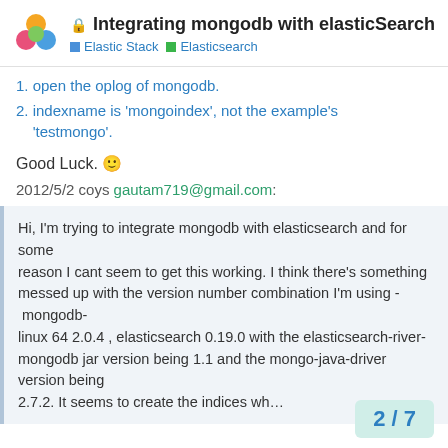Integrating mongodb with elasticSearch — Elastic Stack | Elasticsearch
1. open the oplog of mongodb.
2. indexname is 'mongoindex', not the example's 'testmongo'.
Good Luck. 🙂
2012/5/2 coys gautam719@gmail.com:
Hi, I'm trying to integrate mongodb with elasticsearch and for some reason I cant seem to get this working. I think there's something messed up with the version number combination I'm using - mongodb-linux 64 2.0.4 , elasticsearch 0.19.0 with the elasticsearch-river-mongodb jar version being 1.1 and the mongo-java-driver version being 2.7.2. It seems to create the indices who elasticsearch...
2 / 7